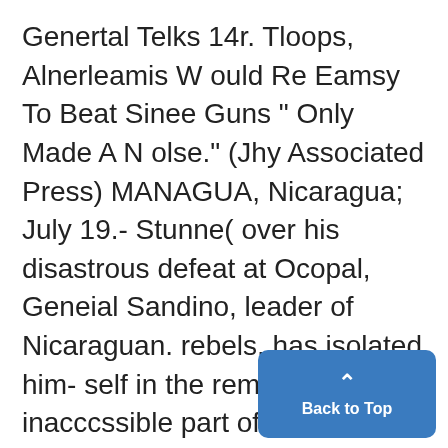Genertal Telks 14r. Tloops, Alnerleamis W ould Re Eamsy To Beat Sinee Guns " Only Made A N olse." (Jhy Associated Press) MANAGUA, Nicaragua; July 19.- Stunne( over his disastrous defeat at Ocopal, Geneial Sandino, leader of Nicaraguan. rebels, has isolated himself in the remote and inacccssible part of the country. The amazing defense by a mere handful of United States Marines and Nicaraguan com- stabulary, aided by five bomnb planes from Managua, has serv